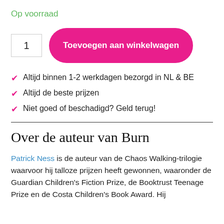Op voorraad
[Figure (screenshot): Quantity input box showing '1' and a pink rounded button labeled 'Toevoegen aan winkelwagen']
Altijd binnen 1-2 werkdagen bezorgd in NL & BE
Altijd de beste prijzen
Niet goed of beschadigd? Geld terug!
Over de auteur van Burn
Patrick Ness is de auteur van de Chaos Walking-trilogie waarvoor hij talloze prijzen heeft gewonnen, waaronder de Guardian Children's Fiction Prize, de Booktrust Teenage Prize en de Costa Children's Book Award. Hij